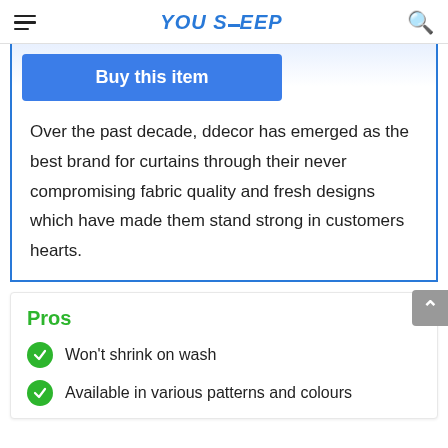YOU SLEEP
[Figure (screenshot): Buy this item button — blue rounded rectangle button with white bold text]
Over the past decade, ddecor has emerged as the best brand for curtains through their never compromising fabric quality and fresh designs which have made them stand strong in customers hearts.
Pros
Won't shrink on wash
Available in various patterns and colours